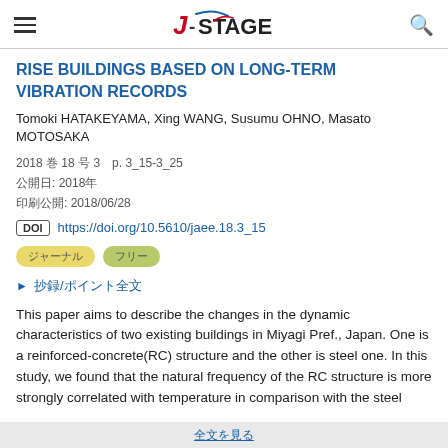J-STAGE
RISE BUILDINGS BASED ON LONG-TERM VIBRATION RECORDS
Tomoki HATAKEYAMA, Xing WANG, Susumu OHNO, Masato MOTOSAKA
2018 巻 18 号 3 p. 3_15-3_25
公開日: 2018年
印刷公開: 2018/06/28
DOI https://doi.org/10.5610/jaee.18.3_15
ジャーナル フリー
▶ 抄録/ポイント全文
This paper aims to describe the changes in the dynamic characteristics of two existing buildings in Miyagi Pref., Japan. One is a reinforced-concrete(RC) structure and the other is steel one. In this study, we found that the natural frequency of the RC structure is more strongly correlated with temperature in comparison with the steel